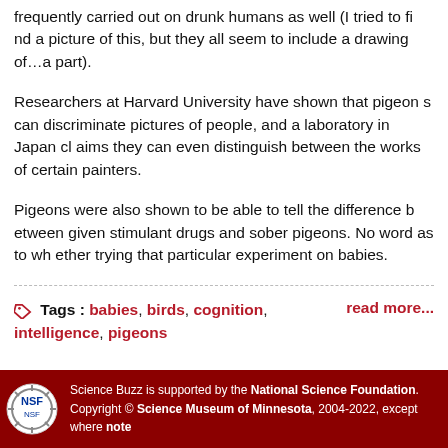frequently carried out on drunk humans as well (I tried to find a picture of this, but they all seem to include a drawing of…a part).
Researchers at Harvard University have shown that pigeons can discriminate pictures of people, and a laboratory in Japan claims they can even distinguish between the works of certain painters.
Pigeons were also shown to be able to tell the difference between given stimulant drugs and sober pigeons. No word as to whether trying that particular experiment on babies.
Tags : babies, birds, cognition, intelligence, pigeons    read more...
Science Buzz is supported by the National Science Foundation. Copyright © Science Museum of Minnesota, 2004-2022, except where note